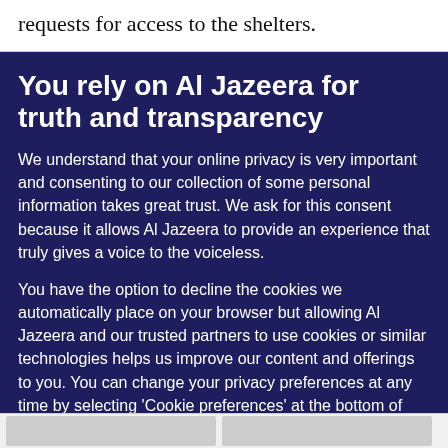requests for access to the shelters.
You rely on Al Jazeera for truth and transparency
We understand that your online privacy is very important and consenting to our collection of some personal information takes great trust. We ask for this consent because it allows Al Jazeera to provide an experience that truly gives a voice to the voiceless.
You have the option to decline the cookies we automatically place on your browser but allowing Al Jazeera and our trusted partners to use cookies or similar technologies helps us improve our content and offerings to you. You can change your privacy preferences at any time by selecting 'Cookie preferences' at the bottom of your screen. To learn more, please view our Cookie Policy.